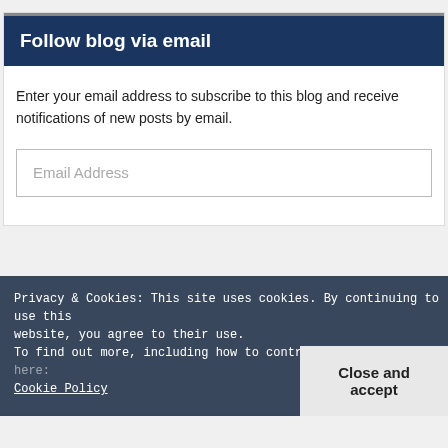Follow blog via email
Enter your email address to subscribe to this blog and receive notifications of new posts by email.
Email Address
Privacy & Cookies: This site uses cookies. By continuing to use this website, you agree to their use.
To find out more, including how to control cookies, see here:
Cookie Policy
Close and accept